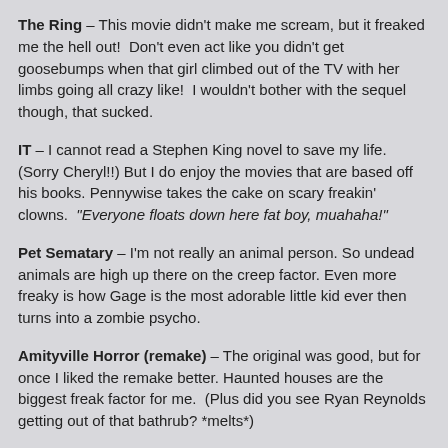The Ring – This movie didn't make me scream, but it freaked me the hell out!  Don't even act like you didn't get goosebumps when that girl climbed out of the TV with her limbs going all crazy like!  I wouldn't bother with the sequel though, that sucked.
IT – I cannot read a Stephen King novel to save my life. (Sorry Cheryl!!) But I do enjoy the movies that are based off his books. Pennywise takes the cake on scary freakin' clowns.  "Everyone floats down here fat boy, muahaha!"
Pet Sematary – I'm not really an animal person. So undead animals are high up there on the creep factor. Even more freaky is how Gage is the most adorable little kid ever then turns into a zombie psycho.
Amityville Horror (remake) – The original was good, but for once I liked the remake better. Haunted houses are the biggest freak factor for me.  (Plus did you see Ryan Reynolds getting out of that bathrub? *melts*)